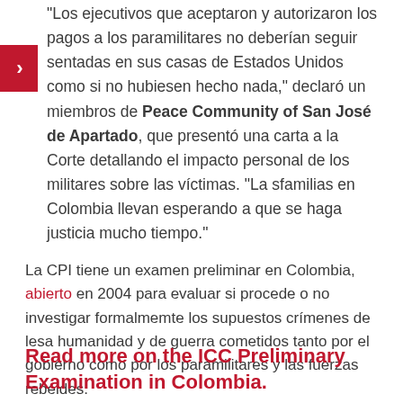"Los ejecutivos que aceptaron y autorizaron los pagos a los paramilitares no deberían seguir sentadas en sus casas de Estados Unidos como si no hubiesen hecho nada," declaró un miembros de Peace Community of San José de Apartado, que presentó una carta a la Corte detallando el impacto personal de los militares sobre las víctimas. "La sfamilias en Colombia llevan esperando a que se haga justicia mucho tiempo."
La CPI tiene un examen preliminar en Colombia, abierto en 2004 para evaluar si procede o no investigar formalmemte los supuestos crímenes de lesa humanidad y de guerra cometidos tanto por el gobierno como por los paramilitares y las fuerzas rebeldes.
Read more on the ICC Preliminary Examination in Colombia.